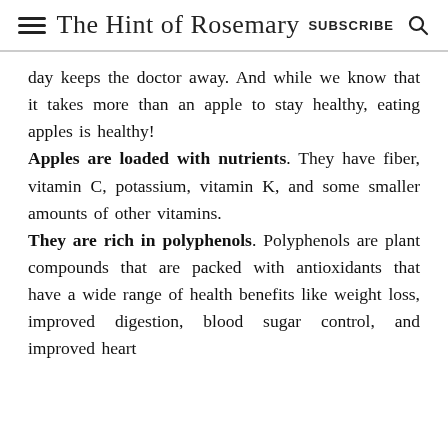The Hint of Rosemary | SUBSCRIBE
day keeps the doctor away. And while we know that it takes more than an apple to stay healthy, eating apples is healthy!
Apples are loaded with nutrients. They have fiber, vitamin C, potassium, vitamin K, and some smaller amounts of other vitamins.
They are rich in polyphenols. Polyphenols are plant compounds that are packed with antioxidants that have a wide range of health benefits like weight loss, improved digestion, blood sugar control, and improved heart